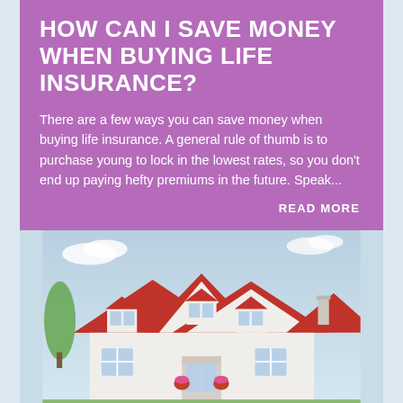HOW CAN I SAVE MONEY WHEN BUYING LIFE INSURANCE?
There are a few ways you can save money when buying life insurance. A general rule of thumb is to purchase young to lock in the lowest rates, so you don't end up paying hefty premiums in the future. Speak...
READ MORE
[Figure (photo): A white house with red metal roofs, multiple peaked gables with white-framed windows, flower baskets at the entrance, photographed against a partly cloudy sky.]